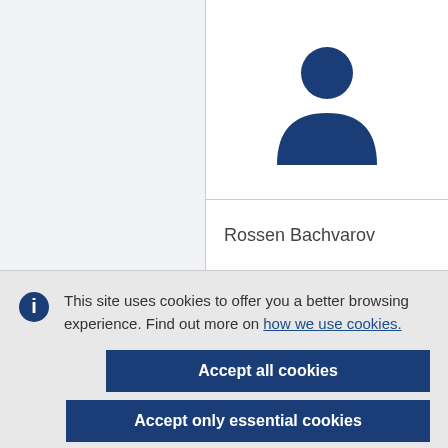[Figure (illustration): Blue person/user avatar icon]
Rossen Bachvarov
This site uses cookies to offer you a better browsing experience. Find out more on how we use cookies.
Accept all cookies
Accept only essential cookies